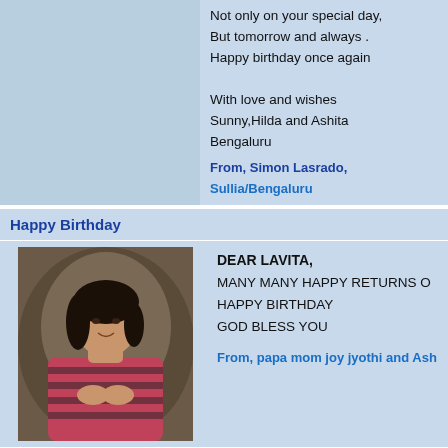Not only on your special day,
But tomorrow and always .
Happy birthday once again

With love and wishes
Sunny,Hilda and Ashita
Bengaluru
From, Simon Lasrado, Sullia/Bengaluru
Happy Birthday
[Figure (photo): Portrait photo of a young woman in a pink and black outfit, seated, dark background]
DEAR LAVITA,
MANY MANY HAPPY RETURNS OF
HAPPY BIRTHDAY
GOD BLESS YOU
From, papa mom joy jyothi and Ash
Happy Birthday